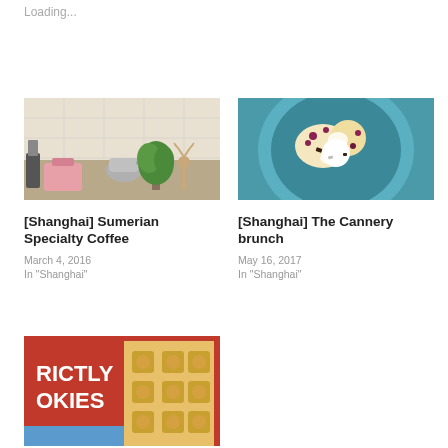Loading...
[Figure (photo): Interior of a specialty coffee shop with kettle, plant, and deer ornament on counter]
[Shanghai] Sumerian Specialty Coffee
March 4, 2016
In "Shanghai"
[Figure (photo): Close-up of a brunch dish on a blue plate with berries, cream and toppings]
[Shanghai] The Cannery brunch
May 16, 2017
In "Shanghai"
[Figure (photo): Strictly Cookies cup and cookies in red packaging]